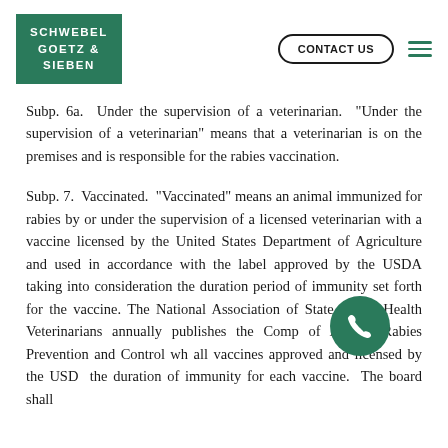SCHWEBEL GOETZ & SIEBEN | CONTACT US
Subp. 6a. Under the supervision of a veterinarian. "Under the supervision of a veterinarian" means that a veterinarian is on the premises and is responsible for the rabies vaccination.
Subp. 7. Vaccinated. "Vaccinated" means an animal immunized for rabies by or under the supervision of a licensed veterinarian with a vaccine licensed by the United States Department of Agriculture and used in accordance with the label approved by the USDA taking into consideration the duration period of immunity set forth for the vaccine. The National Association of State Public Health Veterinarians annually publishes the Compendium of Animal Rabies Prevention and Control which lists all vaccines approved and licensed by the USDA and the duration of immunity for each vaccine. The board shall maintain current editions of this compendium which
[Figure (other): Green circular phone/call icon overlay button in lower right area of page]